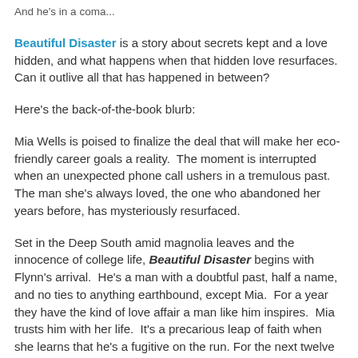And he's in a coma...
Beautiful Disaster is a story about secrets kept and a love hidden, and what happens when that hidden love resurfaces. Can it outlive all that has happened in between?
Here's the back-of-the-book blurb:
Mia Wells is poised to finalize the deal that will make her eco-friendly career goals a reality.  The moment is interrupted when an unexpected phone call ushers in a tremulous past.  The man she's always loved, the one who abandoned her years before, has mysteriously resurfaced.
Set in the Deep South amid magnolia leaves and the innocence of college life, Beautiful Disaster begins with Flynn's arrival.  He's a man with a doubtful past, half a name, and no ties to anything earthbound, except Mia.  For a year they have the kind of love affair a man like him inspires.  Mia trusts him with her life.  It's a precarious leap of faith when she learns that he's a fugitive on the run. For the next twelve years she keeps his secrets, long after Flynn vanishes, devastating her.  Succumbing to the common sense she...